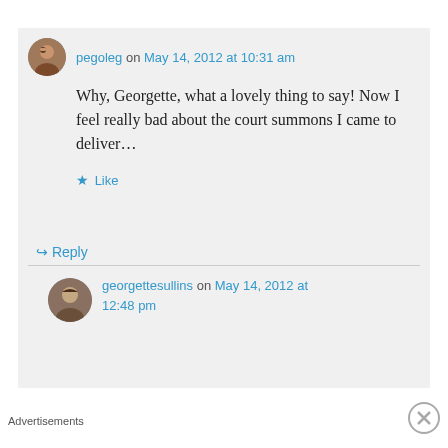pegoleg on May 14, 2012 at 10:31 am
Why, Georgette, what a lovely thing to say! Now I feel really bad about the court summons I came to deliver…
Like
Reply
georgettesullins on May 14, 2012 at 12:48 pm
Advertisements